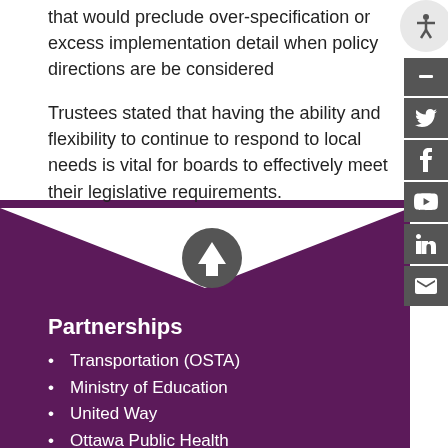that would preclude over-specification or excess implementation detail when policy directions are be considered
Trustees stated that having the ability and flexibility to continue to respond to local needs is vital for boards to effectively meet their legislative requirements.
Partnerships
Transportation (OSTA)
Ministry of Education
United Way
Ottawa Public Health
Ottawa Network for Education (ONFE)